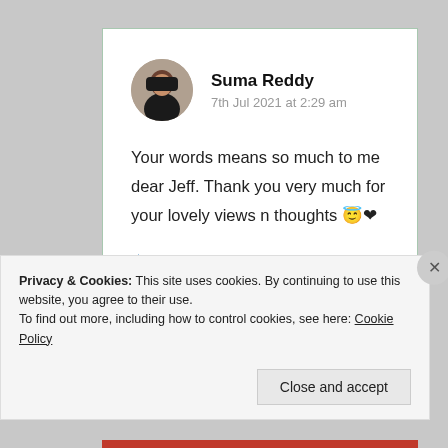Suma Reddy
7th Jul 2021 at 2:29 am
Your words means so much to me dear Jeff. Thank you very much for your lovely views n thoughts 😇❤
★ Like
Log in to Reply
Privacy & Cookies: This site uses cookies. By continuing to use this website, you agree to their use.
To find out more, including how to control cookies, see here: Cookie Policy
Close and accept